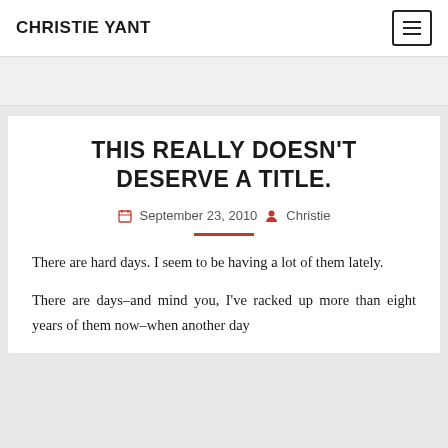CHRISTIE YANT
THIS REALLY DOESN'T DESERVE A TITLE.
September 23, 2010   Christie
There are hard days. I seem to be having a lot of them lately.
There are days–and mind you, I've racked up more than eight years of them now–when another day